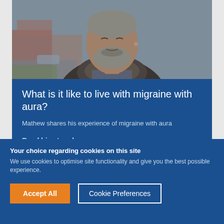[Figure (photo): A middle-aged bearded man smiling, wearing a dark leather jacket with fleece collar, standing outdoors on a residential street with houses in the background. The image has a slightly muted, overcast tone.]
What is it like to live with migraine with aura?
Mathew shares his experience of migraine with aura
Read his story here →
Your choice regarding cookies on this site
We use cookies to optimise site functionality and give you the best possible experience.